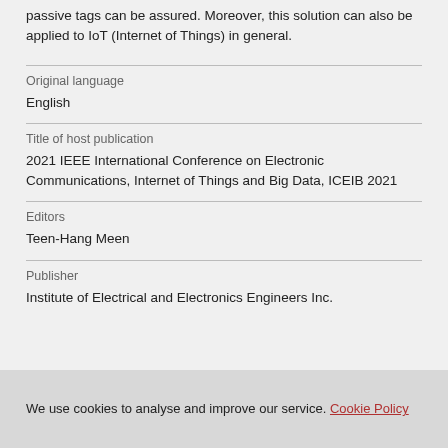passive tags can be assured. Moreover, this solution can also be applied to IoT (Internet of Things) in general.
Original language
English
Title of host publication
2021 IEEE International Conference on Electronic Communications, Internet of Things and Big Data, ICEIB 2021
Editors
Teen-Hang Meen
Publisher
Institute of Electrical and Electronics Engineers Inc.
We use cookies to analyse and improve our service. Cookie Policy